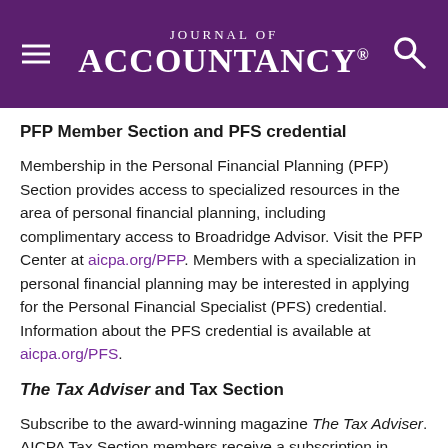Journal of Accountancy
PFP Member Section and PFS credential
Membership in the Personal Financial Planning (PFP) Section provides access to specialized resources in the area of personal financial planning, including complimentary access to Broadridge Advisor. Visit the PFP Center at aicpa.org/PFP. Members with a specialization in personal financial planning may be interested in applying for the Personal Financial Specialist (PFS) credential. Information about the PFS credential is available at aicpa.org/PFS.
The Tax Adviser and Tax Section
Subscribe to the award-winning magazine The Tax Adviser. AICPA Tax Section members receive a subscription in addition to access to a tax resource library, member-only newsletter, and four free webcasts. The Tax Section is leading tax forward with the latest news, tools, webcasts,